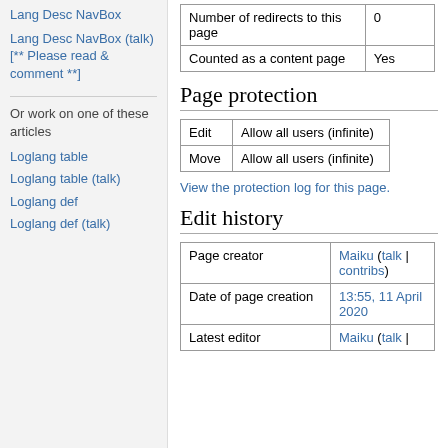Lang Desc NavBox
Lang Desc NavBox (talk) [** Please read & comment **]
Or work on one of these articles
Loglang table
Loglang table (talk)
Loglang def
Loglang def (talk)
| Number of redirects to this page | 0 |
| Counted as a content page | Yes |
Page protection
| Edit | Allow all users (infinite) |
| Move | Allow all users (infinite) |
View the protection log for this page.
Edit history
| Page creator | Maiku (talk | contribs) |
| Date of page creation | 13:55, 11 April 2020 |
| Latest editor | Maiku (talk | |